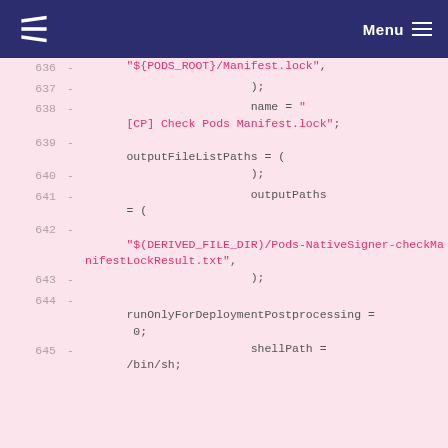Menu
[Figure (screenshot): Code diff viewer showing lines 636-645 of a configuration file with pink highlighted background, line numbers on left, minus signs indicating removed lines, and code content in monospace font with pink/red colored string literals.]